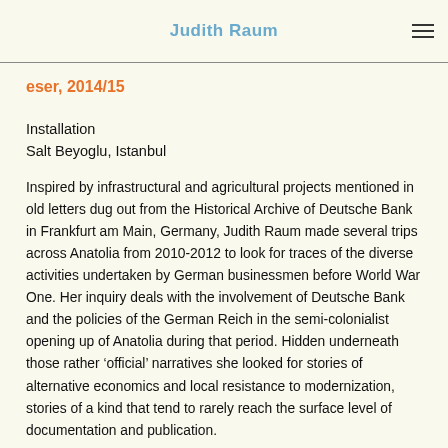Judith Raum
eser, 2014/15
Installation
Salt Beyoglu, Istanbul
Inspired by infrastructural and agricultural projects mentioned in old letters dug out from the Historical Archive of Deutsche Bank in Frankfurt am Main, Germany, Judith Raum made several trips across Anatolia from 2010-2012 to look for traces of the diverse activities undertaken by German businessmen before World War One. Her inquiry deals with the involvement of Deutsche Bank and the policies of the German Reich in the semi-colonialist opening up of Anatolia during that period. Hidden underneath those rather ‘official’ narratives she looked for stories of alternative economics and local resistance to modernization, stories of a kind that tend to rarely reach the surface level of documentation and publication.